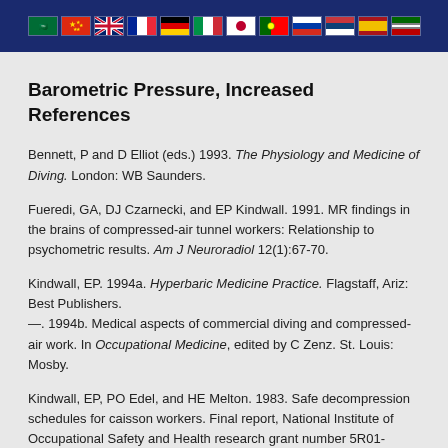[Figure (illustration): Header banner with national flags on dark blue background including Saudi Arabia, China, UK, France, Germany, Italy, Japan, Portugal, Russia, Serbia, Spain, Kenya flags]
Barometric Pressure, Increased References
Bennett, P and D Elliot (eds.) 1993. The Physiology and Medicine of Diving. London: WB Saunders.
Fueredi, GA, DJ Czarnecki, and EP Kindwall. 1991. MR findings in the brains of compressed-air tunnel workers: Relationship to psychometric results. Am J Neuroradiol 12(1):67-70.
Kindwall, EP. 1994a. Hyperbaric Medicine Practice. Flagstaff, Ariz: Best Publishers.
—. 1994b. Medical aspects of commercial diving and compressed-air work. In Occupational Medicine, edited by C Zenz. St. Louis: Mosby.
Kindwall, EP, PO Edel, and HE Melton. 1983. Safe decompression schedules for caisson workers. Final report, National Institute of Occupational Safety and Health research grant number 5R01-OH0094703, December 1.
Richardson, HW and RS Mayo. 1960. Practical Tunnel Driving. New York: McGraw-Hill.
US Bureau of Labor Statistics. 1971. Federal Register. Vol. 36, no. 75, part 2, sub-part S, para. 1518.803, 17 April.